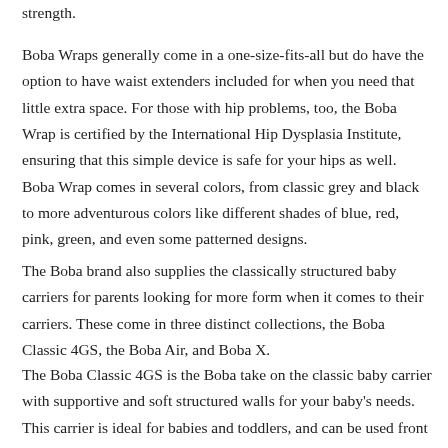strength.
Boba Wraps generally come in a one-size-fits-all but do have the option to have waist extenders included for when you need that little extra space. For those with hip problems, too, the Boba Wrap is certified by the International Hip Dysplasia Institute, ensuring that this simple device is safe for your hips as well. Boba Wrap comes in several colors, from classic grey and black to more adventurous colors like different shades of blue, red, pink, green, and even some patterned designs.
The Boba brand also supplies the classically structured baby carriers for parents looking for more form when it comes to their carriers. These come in three distinct collections, the Boba Classic 4GS, the Boba Air, and Boba X.
The Boba Classic 4GS is the Boba take on the classic baby carrier with supportive and soft structured walls for your baby's needs. This carrier is ideal for babies and toddlers, and can be used front